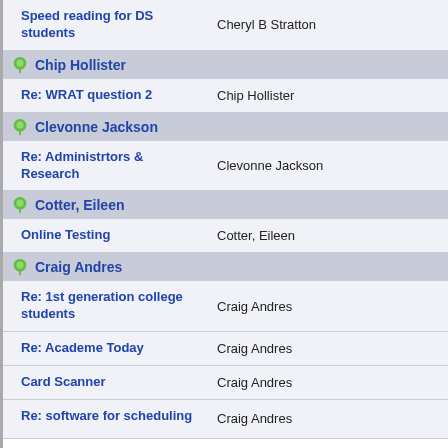Speed reading for DS students | Cheryl B Stratton
Chip Hollister (header)
Re: WRAT question 2 | Chip Hollister
Clevonne Jackson (header)
Re: Administrtors & Research | Clevonne Jackson
Cotter, Eileen (header)
Online Testing | Cotter, Eileen
Craig Andres (header)
Re: 1st generation college students | Craig Andres
Re: Academe Today | Craig Andres
Card Scanner | Craig Andres
Re: software for scheduling | Craig Andres